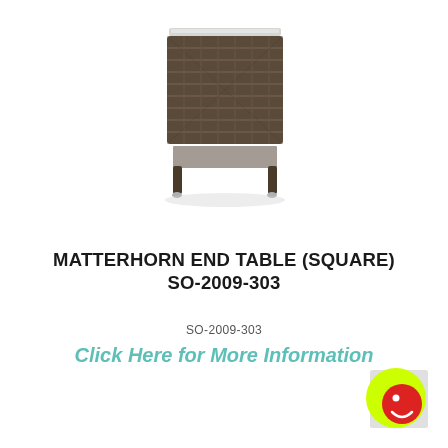[Figure (photo): Photo of the Matterhorn End Table (Square) SO-2009-303 — a dark brown wicker/rattan square side table with a glass top and silver leg tips, shown on a white background.]
MATTERHORN END TABLE (SQUARE) SO-2009-303
SO-2009-303
Click Here for More Information
[Figure (logo): Round yellow badge with a red smiley face icon in the lower right corner of the page.]